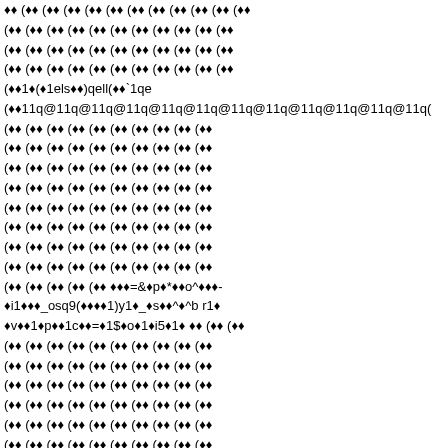(�� (�� (�� (�� (�� (�� (�� (�� (�� (�� (�� (��
(�� (�� (�� (�� (�� (�� (�� (�� (�� (�� (��
(�� (�� (�� (�� (�� (�� (�� (�� (�� (�� (��
(�� (�� (�� (�� (�� (�� (�� (�� (�� (�� (��
(��1�(�1els��)qell(��`1qe
(��11q@11q@11q@11q@11q@11q@11q@11q@11q@11q@11q@11q(
(�� (�� (�� (�� (�� (�� (�� (�� (�� (��
(�� (�� (�� (�� (�� (�� (�� (�� (�� (��
(�� (�� (�� (�� (�� (�� (�� (�� (�� (��
(�� (�� (�� (�� (�� (�� (�� (�� (�� (��
(�� (�� (�� (�� (�� (�� (�� (�� (�� (��
(�� (�� (�� (�� (�� (�� (�� (�� (�� (��
(�� (�� (�� (�� (�� (�� (�� (�� (�� (��
(�� (�� (�� (�� (�� (�� (�� (�� (�� (��
(�� (�� (�� (�� (�� ���=&�p�*��o^���-
�i1���_osq9(����1)y1�_�s��^�^b r1�
�v��1�p��1c��=�1$�o�1�i5�1� �� (�� (��
(�� (�� (�� (�� (�� (�� (�� (�� (�� (��
(�� (�� (�� (�� (�� (�� (�� (�� (�� (��
(�� (�� (�� (�� (�� (�� (�� (�� (�� (��
(�� (�� (�� (�� (�� (�� (�� (�� (�� (��
(�� (�� (�� (�� (�� (�� (�� (�� (�� (��
(�� (�� (�� (�� (�� (�� (�� (�� (�� (��
(�� (�� (�� (�� (�� (�� (�� (�� (�� (��